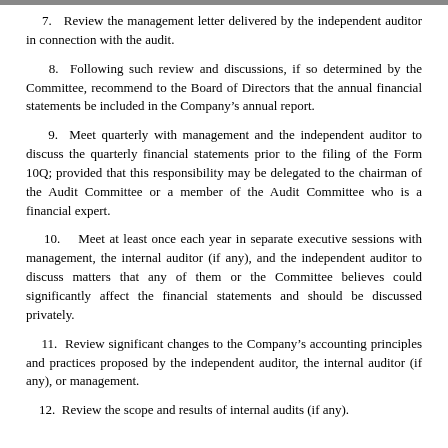7.   Review the management letter delivered by the independent auditor in connection with the audit.
8.  Following such review and discussions, if so determined by the Committee, recommend to the Board of Directors that the annual financial statements be included in the Company’s annual report.
9.  Meet quarterly with management and the independent auditor to discuss the quarterly financial statements prior to the filing of the Form 10Q; provided that this responsibility may be delegated to the chairman of the Audit Committee or a member of the Audit Committee who is a financial expert.
10.   Meet at least once each year in separate executive sessions with management, the internal auditor (if any), and the independent auditor to discuss matters that any of them or the Committee believes could significantly affect the financial statements and should be discussed privately.
11.  Review significant changes to the Company’s accounting principles and practices proposed by the independent auditor, the internal auditor (if any), or management.
12.  Review the scope and results of internal audits (if any).